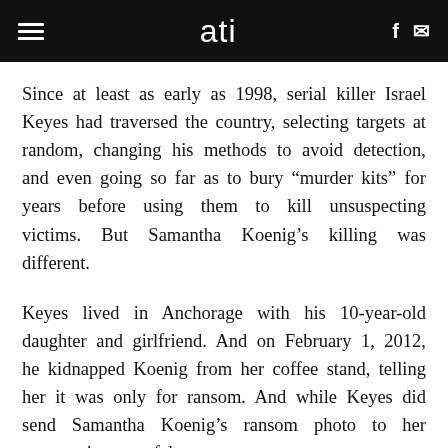ati
Since at least as early as 1998, serial killer Israel Keyes had traversed the country, selecting targets at random, changing his methods to avoid detection, and even going so far as to bury “murder kits” for years before using them to kill unsuspecting victims. But Samantha Koenig’s killing was different.
Keyes lived in Anchorage with his 10-year-old daughter and girlfriend. And on February 1, 2012, he kidnapped Koenig from her coffee stand, telling her it was only for ransom. And while Keyes did send Samantha Koenig’s ransom photo to her parents, it was a fake.